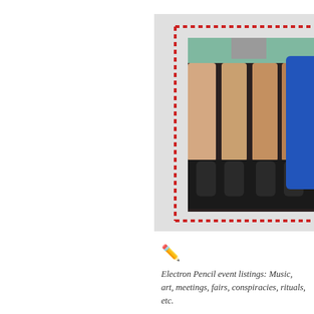[Figure (photo): Photograph of women's legs standing on a stage, shown from knees down with high heeled shoes. Photo is surrounded by a red dotted border on a light gray background. Partial blue circle visible on right edge.]
✏️
Electron Pencil event listings: Music, art, meetings, fairs, conspiracies, rituals, etc.
Tuesday, April 24, 2012
Bloomington, Citywide — IU's Arts Wee...
The Kinsey Institute Gallery — "Man as...